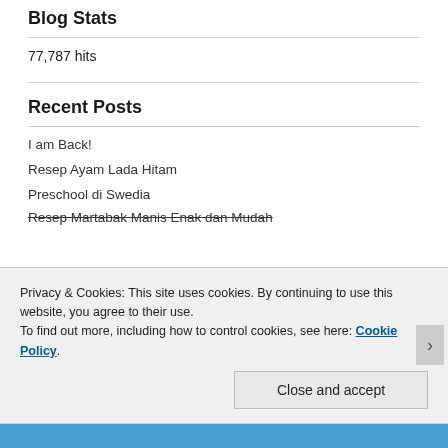Blog Stats
77,787 hits
Recent Posts
I am Back!
Resep Ayam Lada Hitam
Preschool di Swedia
Resep Martabak Manis Enak dan Mudah
Privacy & Cookies: This site uses cookies. By continuing to use this website, you agree to their use.
To find out more, including how to control cookies, see here: Cookie Policy
Close and accept